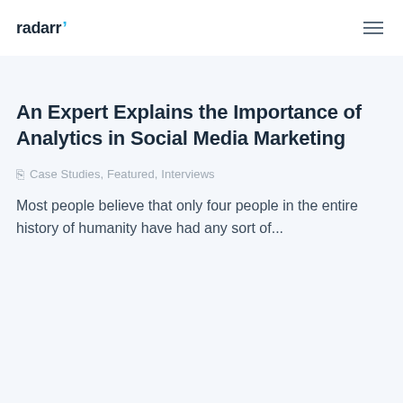radarr
An Expert Explains the Importance of Analytics in Social Media Marketing
Case Studies, Featured, Interviews
Most people believe that only four people in the entire history of humanity have had any sort of...